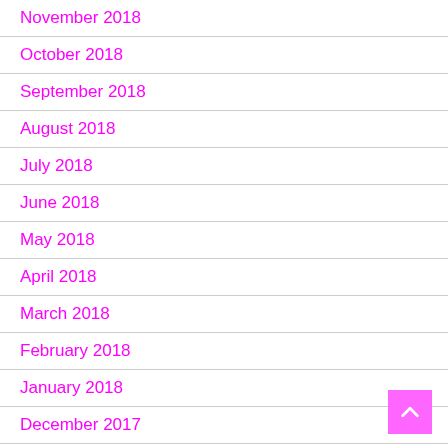November 2018
October 2018
September 2018
August 2018
July 2018
June 2018
May 2018
April 2018
March 2018
February 2018
January 2018
December 2017